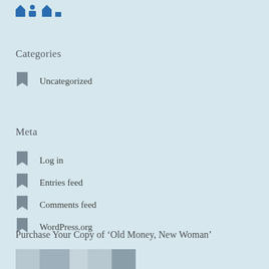[Figure (logo): Blue logo with house/building icons and letter shapes in blue]
Categories
Uncategorized
Meta
Log in
Entries feed
Comments feed
WordPress.org
Purchase Your Copy of ‘Old Money, New Woman’
[Figure (photo): Partial book cover image at bottom of page]